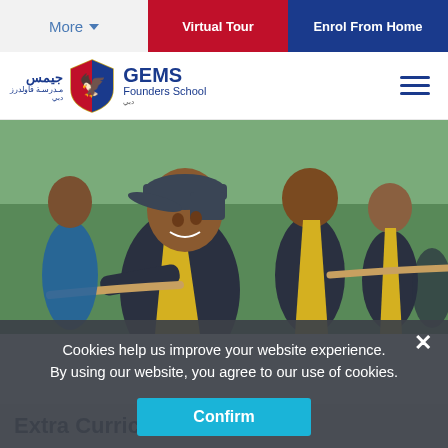More  |  Virtual Tour  |  Enrol From Home
[Figure (logo): GEMS Founders School logo with Arabic text and shield emblem]
[Figure (photo): Children in dark grey and yellow sports uniforms playing tug of war on a field; smiling boy in foreground wearing a cap]
Cookies help us improve your website experience.
By using our website, you agree to our use of cookies.
Confirm
Extra Curricular Activities